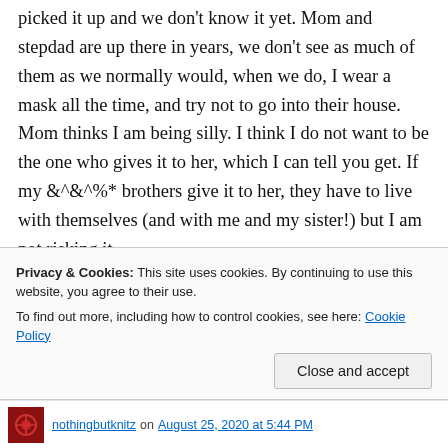picked it up and we don't know it yet. Mom and stepdad are up there in years, we don't see as much of them as we normally would, when we do, I wear a mask all the time, and try not to go into their house. Mom thinks I am being silly. I think I do not want to be the one who gives it to her, which I can tell you get. If my &^&^%* brothers give it to her, they have to live with themselves (and with me and my sister!) but I am not risking it.
Privacy & Cookies: This site uses cookies. By continuing to use this website, you agree to their use.
To find out more, including how to control cookies, see here: Cookie Policy
Close and accept
nothingbutknitz on August 25, 2020 at 5:44 PM